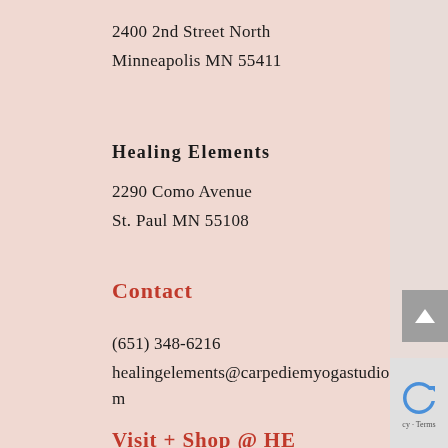2400 2nd Street North
Minneapolis MN 55411
Healing Elements
2290 Como Avenue
St. Paul MN 55108
Contact
(651) 348-6216
healingelements@carpediemyogastudio.com
Visit + Shop @ HE
Mon - Fri:  9am - 8pm
Sat - Sun: 9am - 6pm